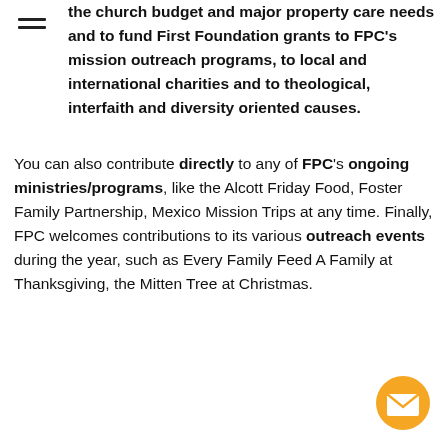the church budget and major property care needs and to fund First Foundation grants to FPC's mission outreach programs, to local and international charities and to theological, interfaith and diversity oriented causes.
You can also contribute directly to any of FPC's ongoing ministries/programs, like the Alcott Friday Food, Foster Family Partnership, Mexico Mission Trips at any time. Finally, FPC welcomes contributions to its various outreach events during the year, such as Every Family Feed A Family at Thanksgiving, the Mitten Tree at Christmas.
[Figure (other): Orange circular email/envelope button icon in bottom-right corner]